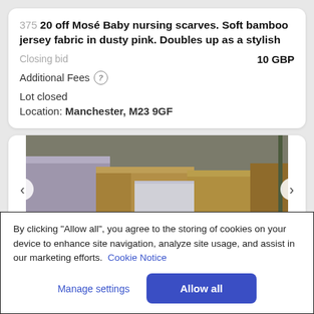375  20 off Mosé Baby nursing scarves. Soft bamboo jersey fabric in dusty pink. Doubles up as a stylish
Closing bid   10 GBP
Additional Fees ?
Lot closed
Location: Manchester, M23 9GF
[Figure (photo): Warehouse photo showing cardboard boxes and white fabric items on shelving]
By clicking "Allow all", you agree to the storing of cookies on your device to enhance site navigation, analyze site usage, and assist in our marketing efforts. Cookie Notice
Manage settings
Allow all